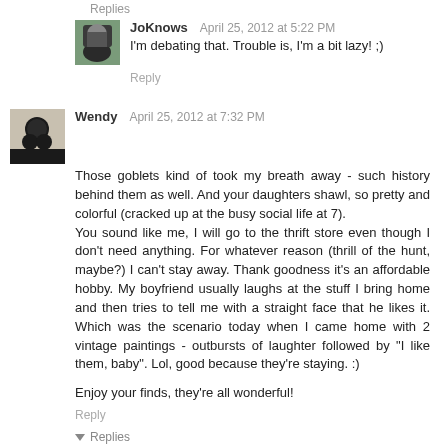Replies
JoKnows   April 25, 2012 at 5:22 PM
I'm debating that. Trouble is, I'm a bit lazy! ;)
Reply
Wendy   April 25, 2012 at 7:32 PM
Those goblets kind of took my breath away - such history behind them as well. And your daughters shawl, so pretty and colorful (cracked up at the busy social life at 7).
You sound like me, I will go to the thrift store even though I don't need anything. For whatever reason (thrill of the hunt, maybe?) I can't stay away. Thank goodness it's an affordable hobby. My boyfriend usually laughs at the stuff I bring home and then tries to tell me with a straight face that he likes it. Which was the scenario today when I came home with 2 vintage paintings - outbursts of laughter followed by "I like them, baby". Lol, good because they're staying. :)

Enjoy your finds, they're all wonderful!
Reply
Replies
JoKnows   April 25, 2012 at 8:24 PM